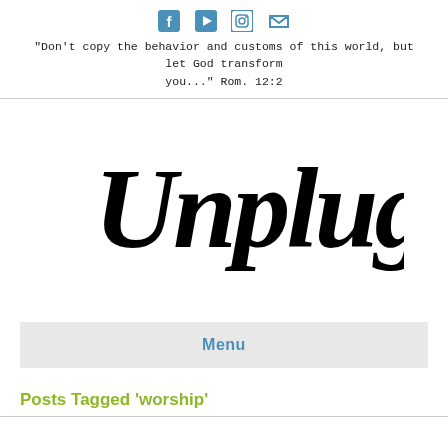[Figure (infographic): Social media icons: Facebook, YouTube, Instagram, Email]
"Don't copy the behavior and customs of this world, but let God transform you..." Rom. 12:2
[Figure (logo): Unplugged handwritten script logo in black]
Menu
Posts Tagged 'worship'